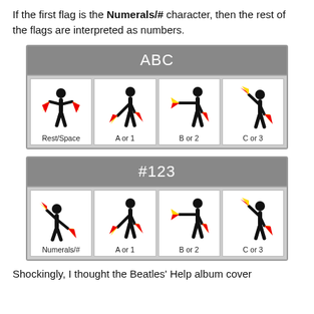If the first flag is the Numerals/# character, then the rest of the flags are interpreted as numbers.
[Figure (illustration): Two semaphore signal tables. Top table labeled 'ABC' showing Rest/Space, A or 1, B or 2, C or 3 positions. Bottom table labeled '#123' showing Numerals/#, A or 1, B or 2, C or 3 positions. Each cell contains a stick figure holding flags in specific semaphore positions.]
Shockingly, I thought the Beatles' Help album cover